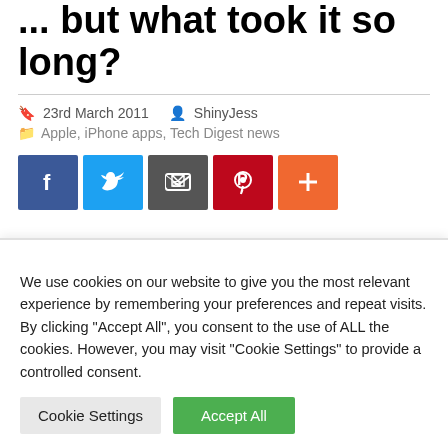... but what took it so long?
23rd March 2011   ShinyJess
Apple, iPhone apps, Tech Digest news
[Figure (infographic): Social sharing buttons: Facebook (blue), Twitter (light blue), Share/envelope (dark grey), Pinterest (red), Plus/more (orange)]
The controversial
[Figure (illustration): Green leaf illustration in top-right area of article]
We use cookies on our website to give you the most relevant experience by remembering your preferences and repeat visits. By clicking "Accept All", you consent to the use of ALL the cookies. However, you may visit "Cookie Settings" to provide a controlled consent.